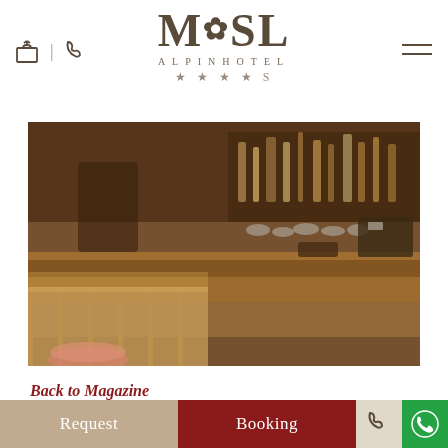[Figure (logo): MASL ALPINHOTEL logo with flower/snowflake design and 4-star S rating]
[Figure (photo): Interior bar scene of Alpinhotel MASL showing warm-lit bar counter with leather seating, bottles and glasses in background]
Back to Magazine
Time to experience
Request
Booking